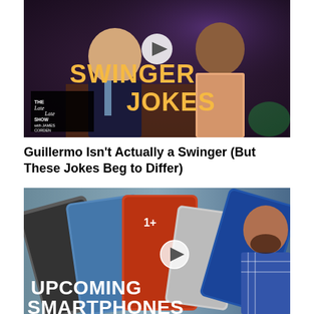[Figure (photo): Video thumbnail from The Late Late Show with James Corden showing two people on a TV set with bold text 'SWINGER JOKES' and a play button icon]
Guillermo Isn't Actually a Swinger (But These Jokes Beg to Differ)
[Figure (photo): Video thumbnail showing multiple smartphones laid out including OnePlus devices in various colors with a man pointing, text reads 'UPCOMING SMARTPHONES' with a play button icon]